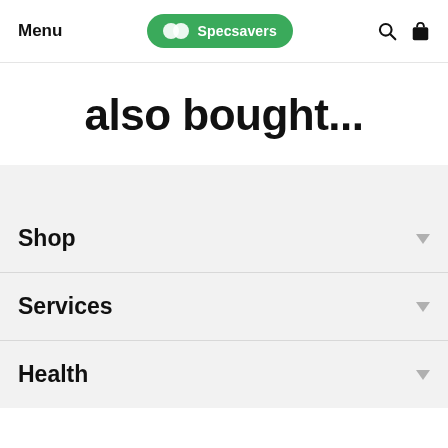Menu | Specsavers
also bought...
Shop
Services
Health